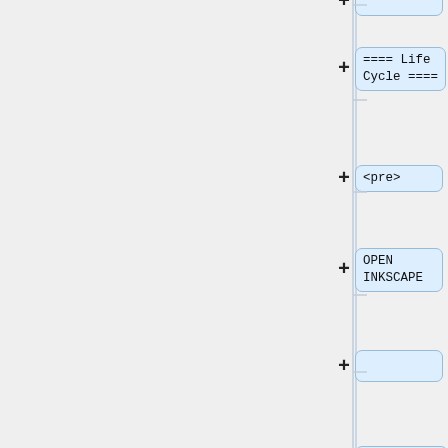[Figure (flowchart): Flowchart/tree view showing a navigation panel on the left with collapsible nodes on the right. Nodes shown (top to bottom): an empty/blank node at top, '==== Life Cycle ====', '<pre>', 'OPEN INKSCAPE', an empty node, 'InkscapeApplication::InkscapeApplication: Entrance', 'InkscapeApplication::InkscapeApplication: Exit', 'Application::Application' (partially visible at bottom).]